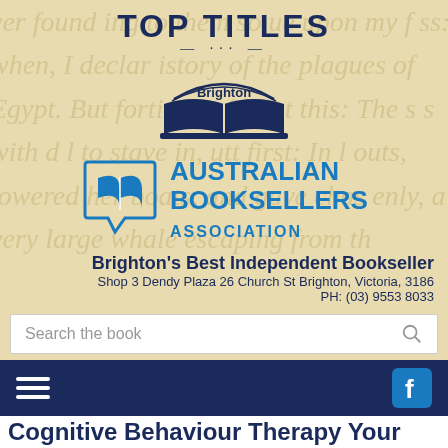TOP TITLES
[Figure (logo): Brighton Books open book logo with arch reading Brighton]
[Figure (logo): Australian Booksellers Association logo - speech bubble with open book icon and text AUSTRALIAN BOOKSELLERS ASSOCIATION]
Brighton's Best Independent Bookseller
Shop 3 Dendy Plaza 26 Church St Brighton, Victoria, 3186
PH: (03) 9553 8033
Search the book
[Figure (screenshot): Navigation bar with hamburger menu on left and Facebook icon on right on dark navy background]
Cognitive Behaviour Therapy Your